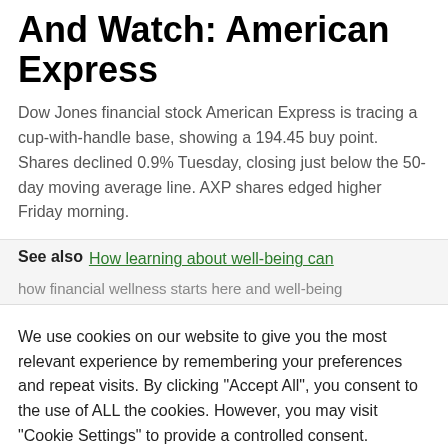And Watch: American Express
Dow Jones financial stock American Express is tracing a cup-with-handle base, showing a 194.45 buy point. Shares declined 0.9% Tuesday, closing just below the 50-day moving average line. AXP shares edged higher Friday morning.
See also  How learning about well-being can
We use cookies on our website to give you the most relevant experience by remembering your preferences and repeat visits. By clicking "Accept All", you consent to the use of ALL the cookies. However, you may visit "Cookie Settings" to provide a controlled consent.